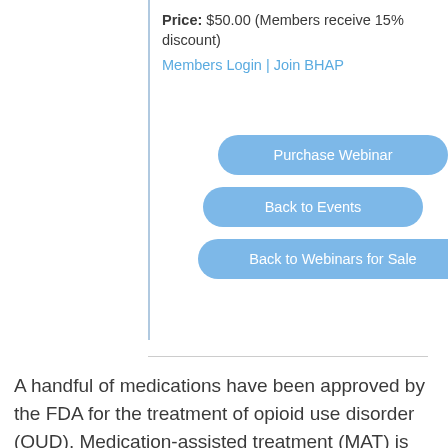Price: $50.00 (Members receive 15% discount)
Members Login | Join BHAP
Purchase Webinar
Back to Events
Back to Webinars for Sale
A handful of medications have been approved by the FDA for the treatment of opioid use disorder (OUD). Medication-assisted treatment (MAT) is the generic term for these medications and their associated supportive services. Federal